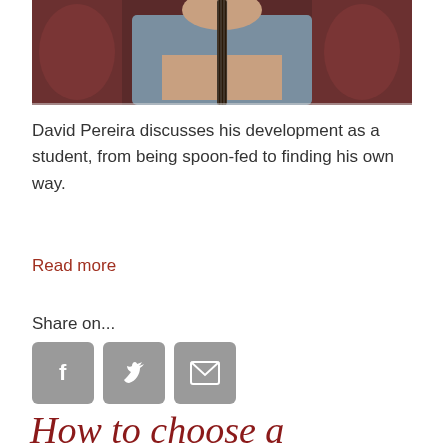[Figure (photo): A man playing a string instrument (cello or bass), partially visible from the arms and hands, with instrument cases in the background.]
David Pereira discusses his development as a student, from being spoon-fed to finding his own way.
Read more
Share on...
[Figure (infographic): Three gray square buttons for social sharing: Facebook (f icon), Twitter (bird icon), and Email (envelope icon).]
How to choose a